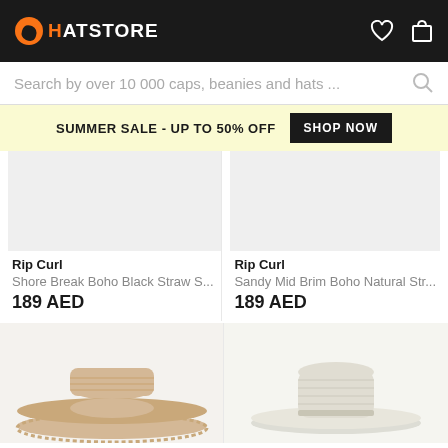[Figure (screenshot): HatStore website header with dark background, orange logo icon, white HATSTORE text, heart and shopping bag icons]
Search by over 10 000 caps, beanies and hats ...
SUMMER SALE - UP TO 50% OFF   SHOP NOW
Rip Curl
Shore Break Boho Black Straw S...
189 AED
Rip Curl
Sandy Mid Brim Boho Natural Str...
189 AED
[Figure (photo): Beige wide-brim straw hat with frayed edge brim]
[Figure (photo): Cream colored woven fedora style straw hat]